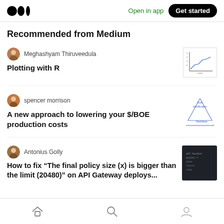Medium app header with logo, Open in app link, Get started button
Recommended from Medium
Meghashyam Thiruveedula — Plotting with R
spencer morrison — A new approach to lowering your $/BOE production costs
Antonius Golly — How to fix "The final policy size (x) is bigger than the limit (20480)" on API Gateway deploys...
Home, Search, Profile icons